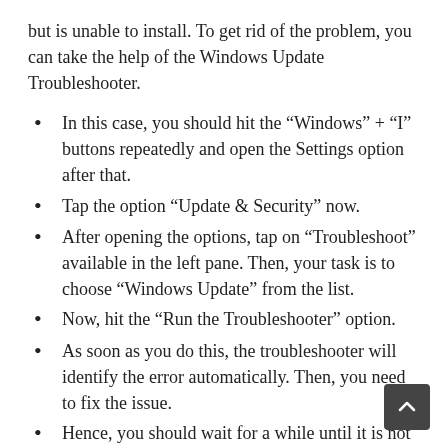but is unable to install. To get rid of the problem, you can take the help of the Windows Update Troubleshooter.
In this case, you should hit the “Windows” + “I” buttons repeatedly and open the Settings option after that.
Tap the option “Update & Security” now.
After opening the options, tap on “Troubleshoot” available in the left pane. Then, your task is to choose “Windows Update” from the list.
Now, hit the “Run the Troubleshooter” option.
As soon as you do this, the troubleshooter will identify the error automatically. Then, you need to fix the issue.
Hence, you should wait for a while until it is not installed. Finally, check if it is still there.
If necessary, you are capable of starting the troubleshooter from the Control Panel also. Follow the steps for performing the method.